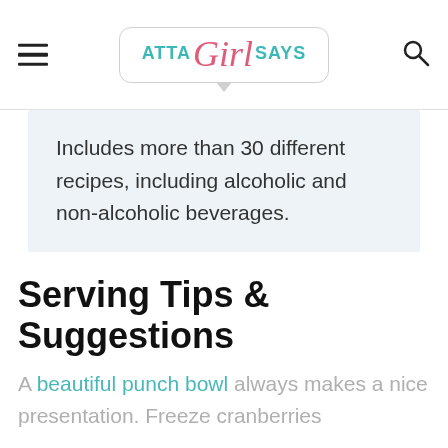ATTA Girl SAYS
Includes more than 30 different recipes, including alcoholic and non-alcoholic beverages.
Serving Tips & Suggestions
A beautiful punch bowl always makes a nice presentation. Freeze cranberries